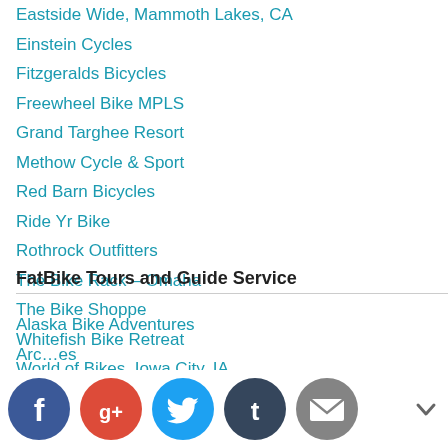Eastside Wide, Mammoth Lakes, CA
Einstein Cycles
Fitzgeralds Bicycles
Freewheel Bike MPLS
Grand Targhee Resort
Methow Cycle & Sport
Red Barn Bicycles
Ride Yr Bike
Rothrock Outfitters
The Bike Rack – Omaha
The Bike Shoppe
Whitefish Bike Retreat
World of Bikes, Iowa City, IA
FatBike Tours and Guide Service
Alaska Bike Adventures
Arc…es
Fat Bike Tours South Africa
Fatbike Adventures
[Figure (infographic): Social sharing icons: Facebook (blue circle with f), Google+ (red circle with G+), Twitter (light blue circle with bird), Tumblr (dark blue circle with t), Email (gray circle with envelope). A chevron/down arrow on the right.]